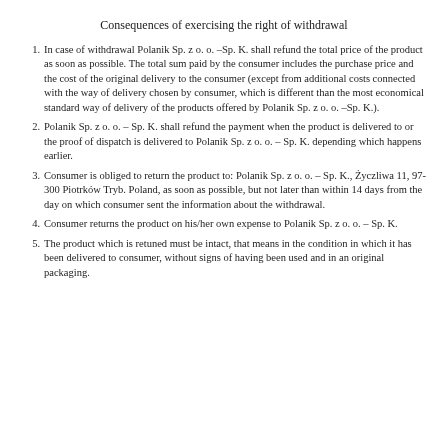Consequences of exercising the right of withdrawal
In case of withdrawal Polanik Sp. z o. o. –Sp. K. shall refund the total price of the product as soon as possible. The total sum paid by the consumer includes the purchase price and the cost of the original delivery to the consumer (except from additional costs connected with the way of delivery chosen by consumer, which is different than the most economical standard way of delivery of the products offered by Polanik Sp. z o. o. –Sp. K.).
Polanik Sp. z o. o. – Sp. K. shall refund the payment when the product is delivered to or the proof of dispatch is delivered to Polanik Sp. z o. o. – Sp. K. depending which happens earlier.
Consumer is obliged to return the product to: Polanik Sp. z o. o. – Sp. K., Życzliwa 11, 97-300 Piotrków Tryb. Poland, as soon as possible, but not later than within 14 days from the day on which consumer sent the information about the withdrawal.
Consumer returns the product on his/her own expense to Polanik Sp. z o. o. – Sp. K.
The product which is retuned must be intact, that means in the condition in which it has been delivered to consumer, without signs of having been used and in an original packaging.